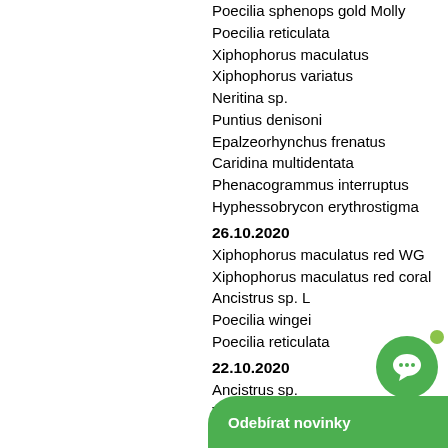Poecilia sphenops gold Molly
Poecilia reticulata
Xiphophorus maculatus
Xiphophorus variatus
Neritina sp.
Puntius denisoni
Epalzeorhynchus frenatus
Caridina multidentata
Phenacogrammus interruptus
Hyphessobrycon erythrostigma
26.10.2020
Xiphophorus maculatus red WG
Xiphophorus maculatus red coral
Ancistrus sp. L
Poecilia wingei
Poecilia reticulata
22.10.2020
Ancistrus sp.
Trichogaster trichopterus sumatranus
21.10.2020
Ancistrus sp.
Ancistrus sp. long fin
Ancistrus sp. gold long fin
Ancistrus sp. super red
Cheirodon axelrodi
Hemigrammus blehere
20.10.20...
Hyphess...
Hemigra...
[Figure (other): Green notification overlay bar with chat bubble icon and text 'Odebírat novinky' (Subscribe to news)]